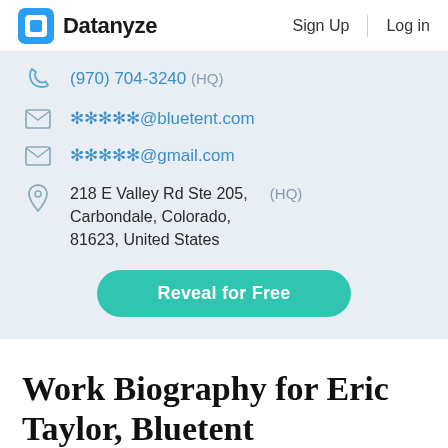Datanyze | Sign Up | Log in
(970) 704-3240 (HQ)
*****@bluetent.com
*****@gmail.com
218 E Valley Rd Ste 205, Carbondale, Colorado, 81623, United States (HQ)
Reveal for Free
Work Biography for Eric Taylor, Bluetent